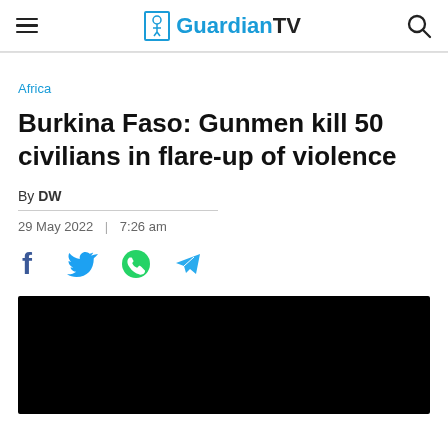GuardianTV
Africa
Burkina Faso: Gunmen kill 50 civilians in flare-up of violence
By DW
29 May 2022 | 7:26 am
[Figure (other): Social share icons: Facebook, Twitter, WhatsApp, Telegram]
[Figure (photo): Black video thumbnail placeholder]